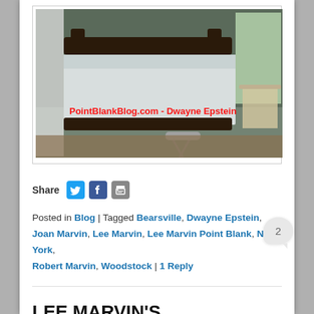[Figure (photo): Bedroom interior with floral wallpaper, antique wooden bed with white bedspread, ironing board, and windows. Red watermark text reads 'PointBlankBlog.com - Dwayne Epstein']
Share [Twitter icon] [Facebook icon] [Print icon]
Posted in Blog | Tagged Bearsville, Dwayne Epstein, Joan Marvin, Lee Marvin, Lee Marvin Point Blank, New York, Robert Marvin, Woodstock | 1 Reply
LEE MARVIN'S WOODSTOCK -PART I
Posted on April 16, 2014